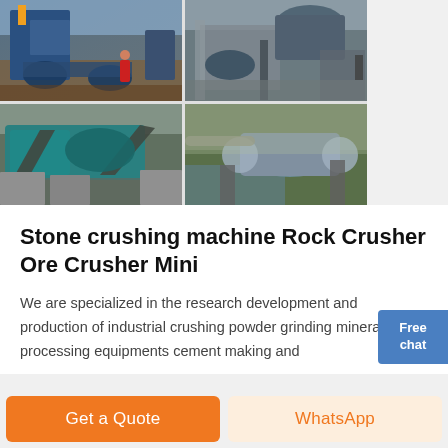[Figure (photo): Four-panel photo grid showing industrial stone crushing and mineral processing equipment at construction/mining sites. Top-left: workers and blue machinery with conveyor belts. Top-right: large industrial processing equipment with cylindrical components. Bottom-left: teal-colored crusher/screening machine. Bottom-right: large rotating drum/cylinder equipment.]
Stone crushing machine Rock Crusher Ore Crusher Mini
We are specialized in the research development and production of industrial crushing powder grinding mineral processing equipments cement making and
Free chat
Get a Quote
WhatsApp